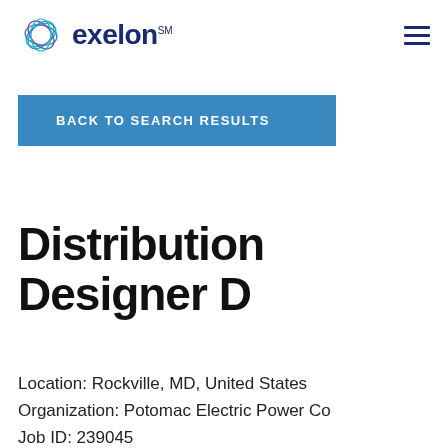exelon℠
BACK TO SEARCH RESULTS
Distribution Designer D
Location: Rockville, MD, United States
Organization: Potomac Electric Power Co
Job ID: 239045